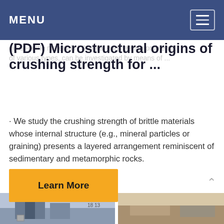MENU
(PDF) Microstructural origins of crushing strength for ...
quasi-brittle materials | Several engineering problems, of various types, can be investigated by means of ...
· We study the crushing strength of brittle materials whose internal structure (e.g., mineral particles or graining) presents a layered arrangement reminiscent of sedimentary and metamorphic rocks.
Learn More
[Figure (photo): Bottom strip showing two photographs: left image shows a structure/building with sky, right image shows a rocky/arid landscape.]